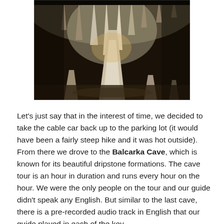[Figure (photo): Interior of Balcarka Cave showing stalactites and stalagmites with dramatic lighting illuminating the dripstone formations.]
Let's just say that in the interest of time, we decided to take the cable car back up to the parking lot (it would have been a fairly steep hike and it was hot outside). From there we drove to the Balcarka Cave, which is known for its beautiful dripstone formations. The cave tour is an hour in duration and runs every hour on the hour. We were the only people on the tour and our guide didn't speak any English. But similar to the last cave, there is a pre-recorded audio track in English that our guide played in each of the key